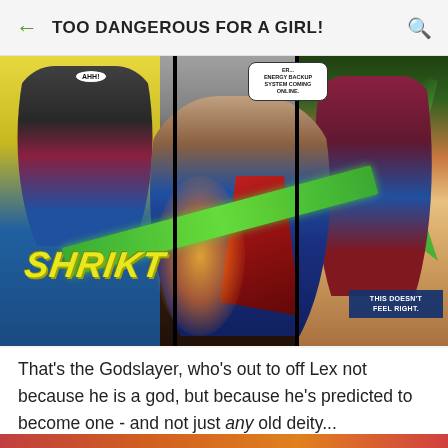TOO DANGEROUS FOR A GIRL!
[Figure (illustration): Comic book panel showing a battle scene. A bald armored hero (Lex Luthor) is being attacked by the Godslayer who wields a green energy blade. A villain in a mask is visible on the left screaming 'AHH!'. Speech bubble reads: 'Er... Energy Backup System Coming Online.' Narrative box reads: 'This Doesn't Feel Right.' Green energy effects and an orange glow are visible. Sound effect text reads 'SHRIKT'.]
That's the Godslayer, who's out to off Lex not because he is a god, but because he's predicted to become one - and not just any old deity...